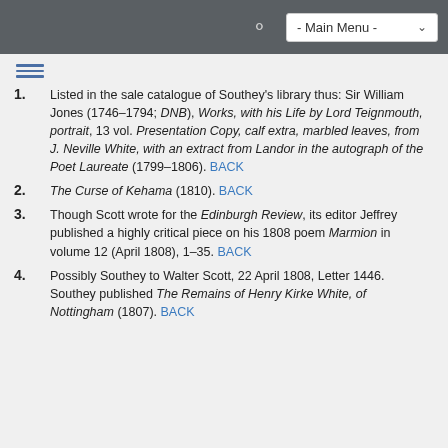- Main Menu -
Listed in the sale catalogue of Southey's library thus: Sir William Jones (1746–1794; DNB), Works, with his Life by Lord Teignmouth, portrait, 13 vol. Presentation Copy, calf extra, marbled leaves, from J. Neville White, with an extract from Landor in the autograph of the Poet Laureate (1799–1806). BACK
The Curse of Kehama (1810). BACK
Though Scott wrote for the Edinburgh Review, its editor Jeffrey published a highly critical piece on his 1808 poem Marmion in volume 12 (April 1808), 1–35. BACK
Possibly Southey to Walter Scott, 22 April 1808, Letter 1446. Southey published The Remains of Henry Kirke White, of Nottingham (1807). BACK